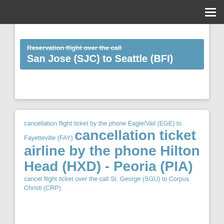≡
Reservation flight over the call San Jose (SJC) to Seattle (BFI)
cancellation flight ticket by the phone Eagle/Vail (EGE) to Fayetteville (FAY) cancellation ticket airline by the phone Hilton Head (HXD) - Peoria (PIA) cancel flight ticket over the call St. George (SGU) to Corpus Christi (CRP)